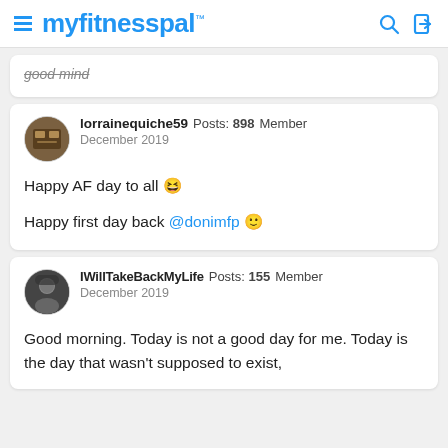myfitnesspal
good mind
lorrainequiche59  Posts: 898  Member
December 2019

Happy AF day to all 😆

Happy first day back @donimfp 🙂
IWillTakeBackMyLife  Posts: 155  Member
December 2019

Good morning. Today is not a good day for me. Today is the day that wasn't supposed to exist,